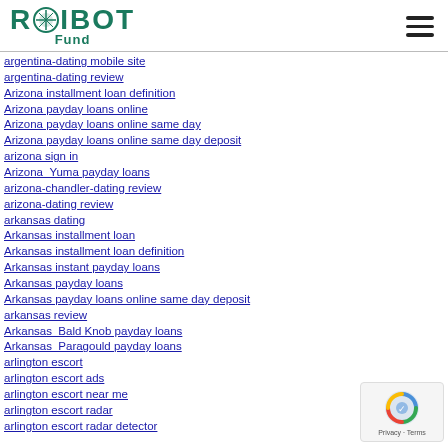ROIBOT Fund
argentina-dating mobile site
argentina-dating review
Arizona installment loan definition
Arizona payday loans online
Arizona payday loans online same day
Arizona payday loans online same day deposit
arizona sign in
Arizona_Yuma payday loans
arizona-chandler-dating review
arizona-dating review
arkansas dating
Arkansas installment loan
Arkansas installment loan definition
Arkansas instant payday loans
Arkansas payday loans
Arkansas payday loans online same day deposit
arkansas review
Arkansas_Bald Knob payday loans
Arkansas_Paragould payday loans
arlington escort
arlington escort ads
arlington escort near me
arlington escort radar
arlington escort radar detector